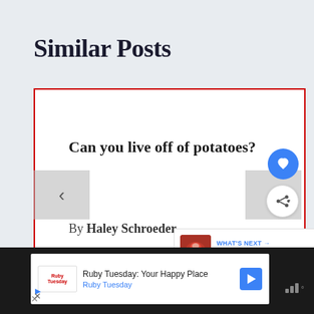Similar Posts
Can you live off of potatoes?
By Haley Schroeder
WHAT'S NEXT → Can You Eat Canned...
[Figure (screenshot): Advertisement banner: Ruby Tuesday: Your Happy Place - Ruby Tuesday]
Ruby Tuesday: Your Happy Place Ruby Tuesday